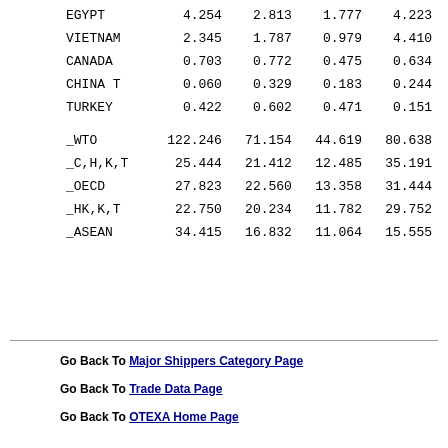| Country | Col1 | Col2 | Col3 | Col4 |
| --- | --- | --- | --- | --- |
| EGYPT | 4.254 | 2.813 | 1.777 | 4.223 |
| VIETNAM | 2.345 | 1.787 | 0.979 | 4.410 |
| CANADA | 0.703 | 0.772 | 0.475 | 0.634 |
| CHINA T | 0.060 | 0.329 | 0.183 | 0.244 |
| TURKEY | 0.422 | 0.602 | 0.471 | 0.151 |
| _WTO | 122.246 | 71.154 | 44.619 | 80.638 |
| _C,H,K,T | 25.444 | 21.412 | 12.485 | 35.191 |
| _OECD | 27.823 | 22.560 | 13.358 | 31.444 |
| _HK,K,T | 22.750 | 20.234 | 11.782 | 29.752 |
| _ASEAN | 34.415 | 16.832 | 11.064 | 15.555 |
Go Back To Major Shippers Category Page
Go Back To Trade Data Page
Go Back To OTEXA Home Page